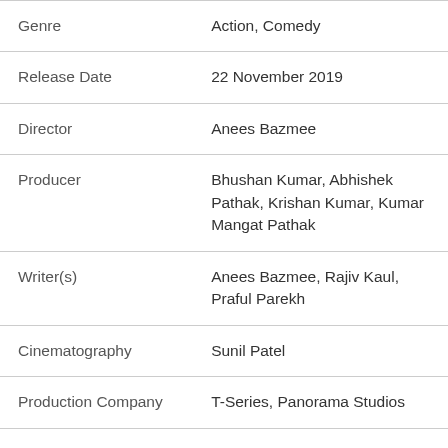| Field | Value |
| --- | --- |
| Genre | Action, Comedy |
| Release Date | 22 November 2019 |
| Director | Anees Bazmee |
| Producer | Bhushan Kumar, Abhishek Pathak, Krishan Kumar, Kumar Mangat Pathak |
| Writer(s) | Anees Bazmee, Rajiv Kaul, Praful Parekh |
| Cinematography | Sunil Patel |
| Production Company | T-Series, Panorama Studios |